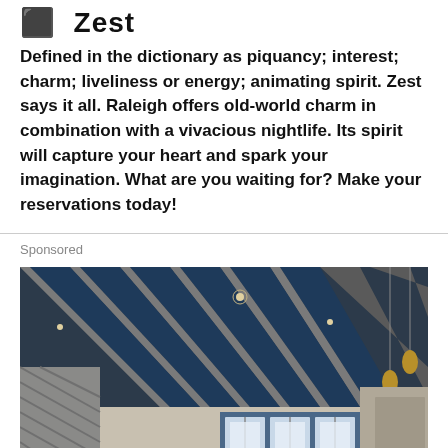Zest
Defined in the dictionary as piquancy; interest; charm; liveliness or energy; animating spirit. Zest says it all. Raleigh offers old-world charm in combination with a vivacious nightlife. Its spirit will capture your heart and spark your imagination. What are you waiting for? Make your reservations today!
Sponsored
[Figure (photo): Interior architectural rendering of a modern lobby or lounge space with an industrial-style ceiling featuring dark blue and grey exposed beams, pendant lighting, and a seating area visible in the background with large windows.]